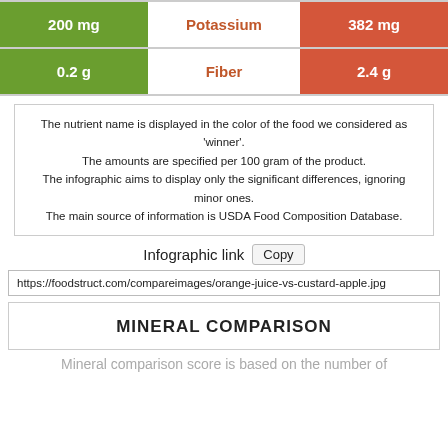| Left Value | Nutrient | Right Value |
| --- | --- | --- |
| 200 mg | Potassium | 382 mg |
| 0.2 g | Fiber | 2.4 g |
The nutrient name is displayed in the color of the food we considered as 'winner'. The amounts are specified per 100 gram of the product. The infographic aims to display only the significant differences, ignoring minor ones. The main source of information is USDA Food Composition Database.
Infographic link  Copy
https://foodstruct.com/compareimages/orange-juice-vs-custard-apple.jpg
MINERAL COMPARISON
Mineral comparison score is based on the number of